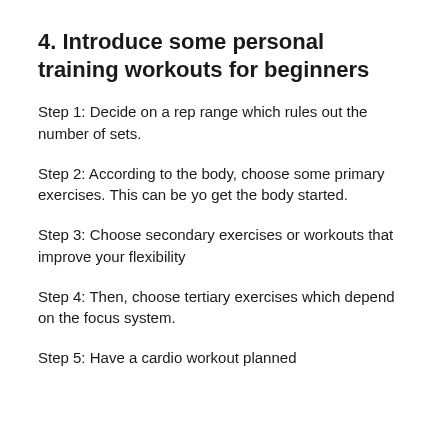4. Introduce some personal training workouts for beginners
Step 1: Decide on a rep range which rules out the number of sets.
Step 2: According to the body, choose some primary exercises. This can be yo get the body started.
Step 3: Choose secondary exercises or workouts that improve your flexibility
Step 4: Then, choose tertiary exercises which depend on the focus system.
Step 5: Have a cardio workout planned